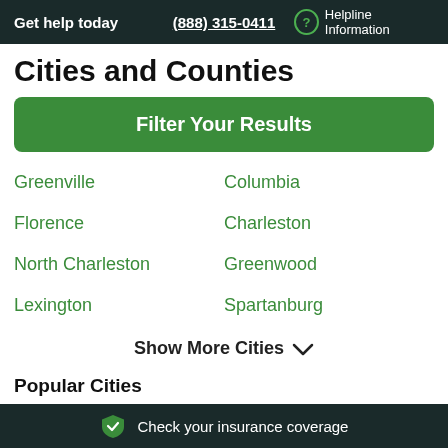Get help today  (888) 315-0411  ? Helpline Information
Cities and Counties
[Figure (other): Green button labeled 'Filter Your Results']
Greenville
Columbia
Florence
Charleston
North Charleston
Greenwood
Lexington
Spartanburg
Show More Cities
Popular Cities
Check your insurance coverage